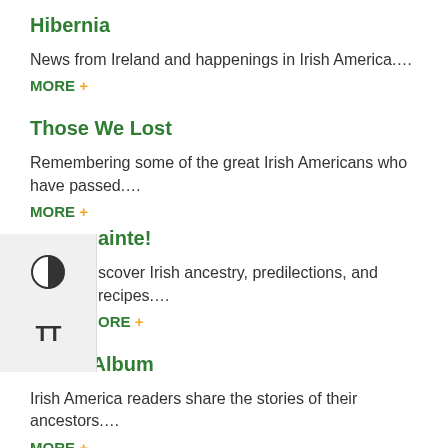Hibernia
News from Ireland and happenings in Irish America....
MORE +
Those We Lost
Remembering some of the great Irish Americans who have passed....
MORE +
Sláinte!
Discover Irish ancestry, predilections, and recipes....
MORE +
Photo Album
Irish America readers share the stories of their ancestors....
MORE +